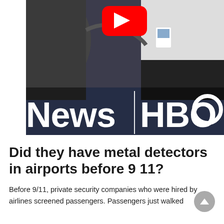[Figure (screenshot): YouTube video thumbnail showing airport security screening scene with 'News | HBO' text overlay and YouTube play button]
Did they have metal detectors in airports before 9 11?
Before 9/11, private security companies who were hired by airlines screened passengers. Passengers just walked